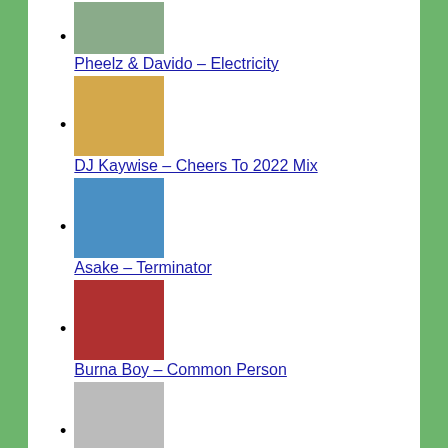Pheelz & Davido – Electricity
DJ Kaywise – Cheers To 2022 Mix
Asake – Terminator
Burna Boy – Common Person
Fireboy DML – Ashawo
Kolaboy & Flavour – Normal Thing
Burna Boy – It's Plenty
L.A.X – Para